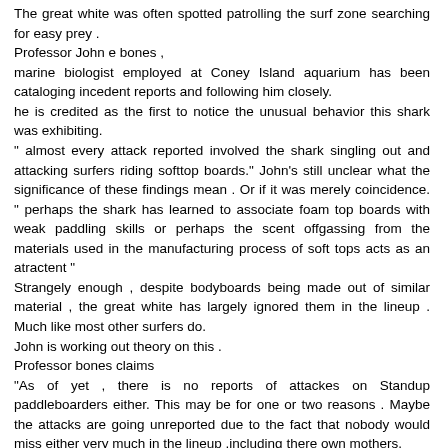The great white was often spotted patrolling the surf zone searching for easy prey . Professor John e bones , marine biologist employed at Coney Island aquarium has been cataloging incedent reports and following him closely. he is credited as the first to notice the unusual behavior this shark was exhibiting. " almost every attack reported involved the shark singling out and attacking surfers riding softtop boards." John's still unclear what the significance of these findings mean . Or if it was merely coincidence. " perhaps the shark has learned to associate foam top boards with weak paddling skills or perhaps the scent offgassing from the materials used in the manufacturing process of soft tops acts as an atractent " Strangely enough , despite bodyboards being made out of similar material , the great white has largely ignored them in the lineup . Much like most other surfers do. John is working out theory on this . Professor bones claims "As of yet , there is no reports of attackes on Standup paddleboarders either. This may be for one or two reasons . Maybe the attacks are going unreported due to the fact that nobody would miss either very much in the lineup ,including there own mothers. Or perhaps theysimlpy share the same distaste for these forms of waveriding as true surfers do "